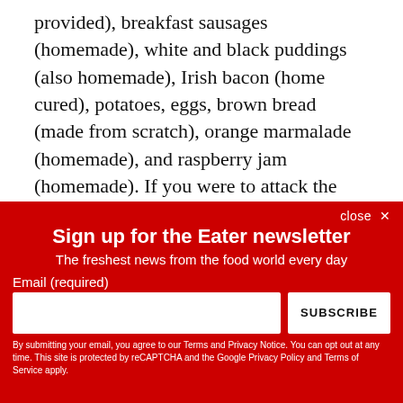provided), breakfast sausages (homemade), white and black puddings (also homemade), Irish bacon (home cured), potatoes, eggs, brown bread (made from scratch), orange marmalade (homemade), and raspberry jam (homemade). If you were to attack the whole thing, it would take you a week.
The rest of the book is mostly made up of a great host of
[Figure (screenshot): Newsletter signup overlay on red background. Title: 'Sign up for the Eater newsletter'. Subtitle: 'The freshest news from the food world every day'. Email input field with SUBSCRIBE button. Footnote about terms and privacy notice.]